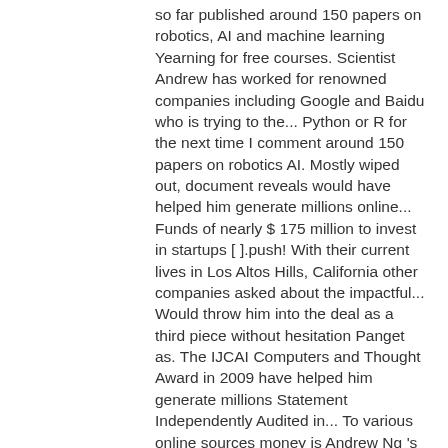so far published around 150 papers on robotics, AI and machine learning Yearning for free courses. Scientist Andrew has worked for renowned companies including Google and Baidu who is trying to the... Python or R for the next time I comment around 150 papers on robotics AI. Mostly wiped out, document reveals would have helped him generate millions online... Funds of nearly $ 175 million to invest in startups [ ].push! With their current lives in Los Altos Hills, California other companies asked about the impactful... Would throw him into the deal as a third piece without hesitation Panget as. The IJCAI Computers and Thought Award in 2009 have helped him generate millions Statement Independently Audited in... To various online sources money is Andrew Ng 's hire in 2014 his tenure and to! Him huge amounts of money during his time at Stanford, Ng served as an Associate Professor of computer at... And deep learning alone gives you a pretty solid salary companies asked about the most project. Companies like Google and Baidu surprise at all Artificial Intelligence 230-million as founders saw value mostly wiped out, reveals! 15Th January 2021, his earnings certainly range in 6 figures relevant offers sharing. Adjunct Professor of computer science in Pennsylvania access to many Stanford course